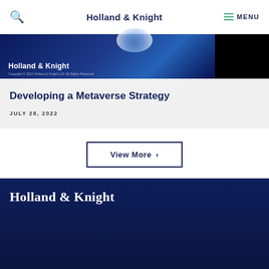Holland & Knight  MENU
[Figure (screenshot): Holland & Knight branded banner image with blue gradient background, white Holland & Knight logo text, copyright notice, and black panel on right]
Developing a Metaverse Strategy
JULY 28, 2022
View More >
Holland & Knight